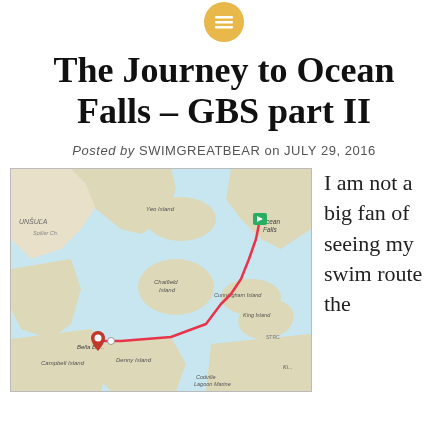The Journey to Ocean Falls – GBS part II
Posted by SWIMGREATBEAR on JULY 29, 2016
[Figure (map): A map showing a swim route traced in red from Bella Bella in the lower left to Ocean Falls in the upper right, passing through islands and waterways including Chatfield Island, Cunningham Island, Yeo Island, King Island, Denny Island, Campbell Island, and Codville Lagoon Marine area.]
I am not a big fan of seeing my swim route the